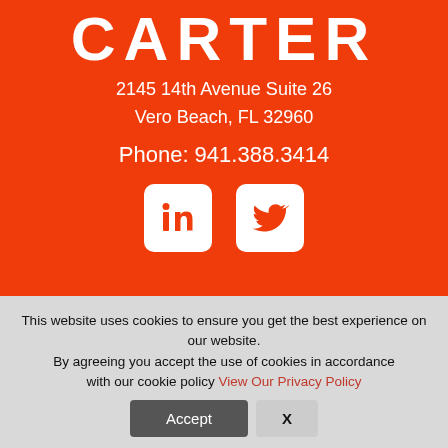CARTER
2145 14th Avenue Suite 26
Vero Beach, FL 32960
Phone: 941.388.3414
[Figure (logo): LinkedIn and Twitter social media icon buttons (white rounded squares with orange icons) on orange background]
This website uses cookies to ensure you get the best experience on our website.
By agreeing you accept the use of cookies in accordance with our cookie policy View Our Privacy Policy